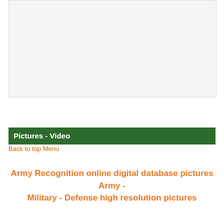[Figure (other): Large empty light gray placeholder image area]
Pictures - Video
Back to top Menu
Army Recognition online digital database pictures Army - Military - Defense high resolution pictures